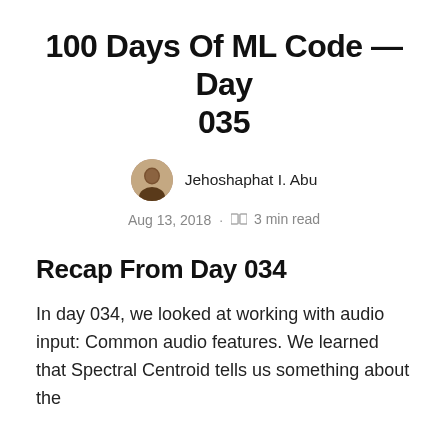100 Days Of ML Code — Day 035
Jehoshaphat I. Abu
Aug 13, 2018 · 3 min read
Recap From Day 034
In day 034, we looked at working with audio input: Common audio features. We learned that Spectral Centroid tells us something about the